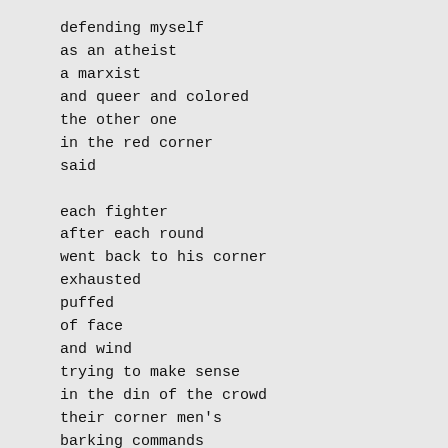defending myself
as an atheist
a marxist
and queer and colored
the other one
in the red corner
said

each fighter
after each round
went back to his corner
exhausted
puffed
of face
and wind
trying to make sense
in the din of the crowd
their corner men's
barking commands